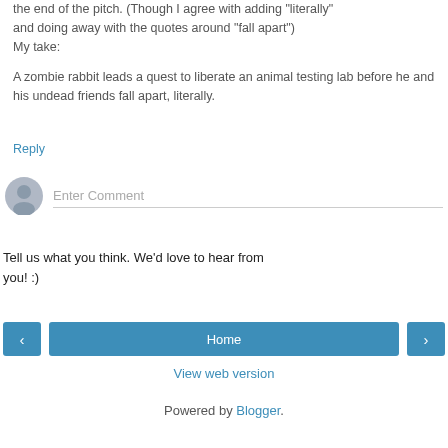the end of the pitch. (Though I agree with adding "literally" and doing away with the quotes around "fall apart")
My take:
A zombie rabbit leads a quest to liberate an animal testing lab before he and his undead friends fall apart, literally.
Reply
[Figure (other): User avatar circle with generic person silhouette icon, gray colored]
Enter Comment
Tell us what you think. We'd love to hear from you! :)
< Home >
View web version
Powered by Blogger.